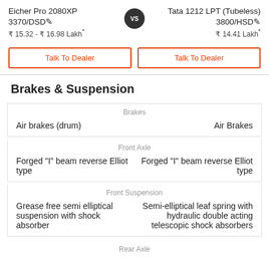Eicher Pro 2080XP 3370/DSD
₹ 15.32 - ₹ 16.98 Lakh*
vs
Tata 1212 LPT (Tubeless) 3800/HSD
₹ 14.41 Lakh*
Talk To Dealer
Talk To Dealer
Brakes & Suspension
|  | Brakes |  |
| --- | --- | --- |
| Air brakes (drum) |  | Air Brakes |
|  | Front Axle |  |
| --- | --- | --- |
| Forged "I" beam reverse Elliot type |  | Forged "I" beam reverse Elliot type |
|  | Front Suspension |  |
| --- | --- | --- |
| Grease free semi elliptical suspension with shock absorber |  | Semi-elliptical leaf spring with hydraulic double acting telescopic shock absorbers |
Rear Axle